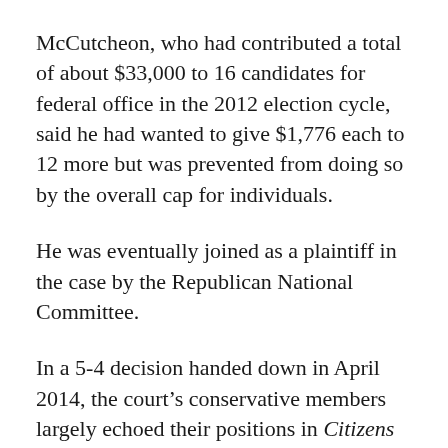McCutcheon, who had contributed a total of about $33,000 to 16 candidates for federal office in the 2012 election cycle, said he had wanted to give $1,776 each to 12 more but was prevented from doing so by the overall cap for individuals.
He was eventually joined as a plaintiff in the case by the Republican National Committee.
In a 5‑4 decision handed down in April 2014, the court's conservative members largely echoed their positions in Citizens United.
Chief Justice John Roberts, writing for four justices in the controlling opinion, said the overall limits could not survive First Amendment scrutiny. “There is no right in our democracy more basic,” he wrote, “than the right to participate in electing our political